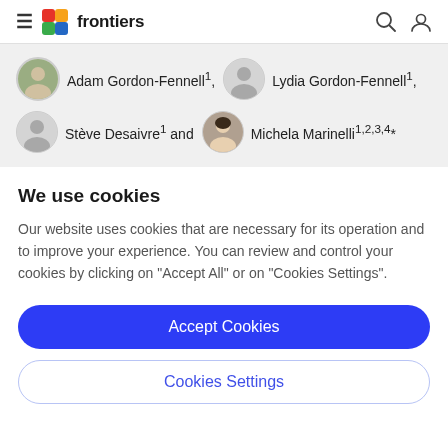frontiers
Adam Gordon-Fennell1, Lydia Gordon-Fennell1, Stève Desaivre1 and Michela Marinelli1,2,3,4*
We use cookies
Our website uses cookies that are necessary for its operation and to improve your experience. You can review and control your cookies by clicking on "Accept All" or on "Cookies Settings".
Accept Cookies
Cookies Settings